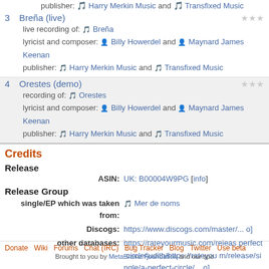publisher: Harry Merkin Music and Transfixed Music
3 Breña (live) — live recording of: Breña — lyricist and composer: Billy Howerdel and Maynard James Keenan — publisher: Harry Merkin Music and Transfixed Music
4 Orestes (demo) — recording of: Orestes — lyricist and composer: Billy Howerdel and Maynard James Keenan — publisher: Harry Merkin Music and Transfixed Music
Credits
Release
ASIN: UK: B00004W9PG [info]
Release Group
single/EP which was taken from: Mer de noms
Discogs: https://www.discogs.com/master/... o]
other databases: https://rateyourmusic.com/release/single/a-perfect-circle/judith/https://rateyourmusic.com/release/single/a-perfect-circle/... o]
Wikidata: Q2059765 [info]
Donate  Wiki  Forums  Chat (IRC)  Bug Tracker  Blog  Twitter  Use beta — Brought to you by MetaBrainz Foundation and our spo